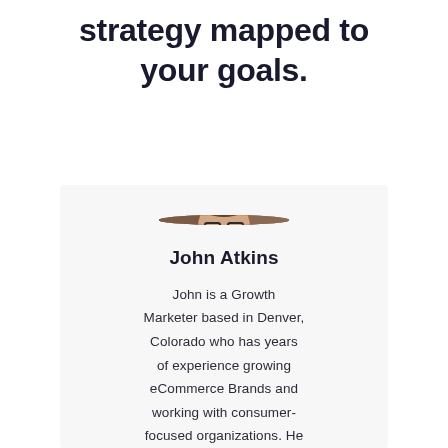strategy mapped to your goals.
[Figure (photo): Circular headshot of John Atkins, a man with glasses and a beard wearing a white shirt, with a brick wall background]
John Atkins
John is a Growth Marketer based in Denver, Colorado who has years of experience growing eCommerce Brands and working with consumer-focused organizations. He